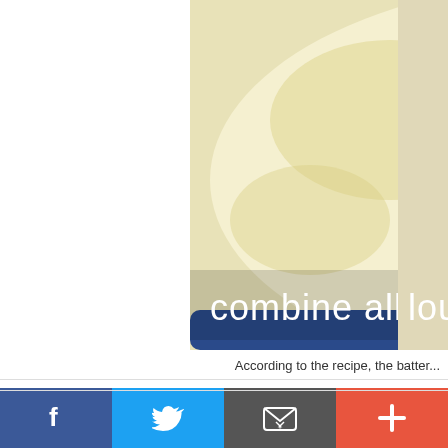[Figure (photo): Close-up photo of batter or mixture in a bowl showing wet ingredients combined, with text overlay 'combine all wet ingredients' at bottom left. Second partial image at right edge with text 'lou...']
According to the recipe, the batter...
[Figure (photo): Photo showing a 'Bake for Happy Kids' branded badge with gingerbread man logo over a grey background. Red and white lid/container visible at bottom right.]
[Figure (infographic): Social sharing bar at bottom with Facebook (blue), Twitter (light blue), Email (grey), and Plus/More (orange-red) buttons with icons.]